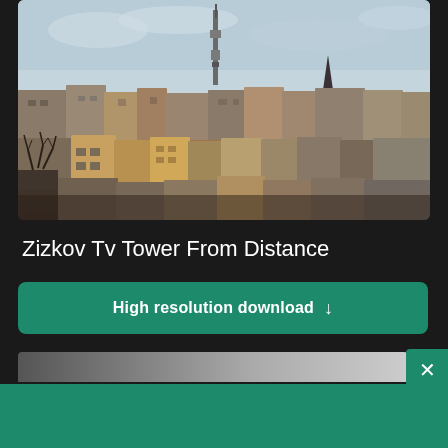[Figure (photo): Aerial/elevated view of Zizkov district in Prague with Zizkov TV Tower visible in the background against a cloudy sky, showing dense urban rooftops with terracotta-colored buildings.]
Zizkov Tv Tower From Distance
[Figure (other): Green download button with text 'High resolution download' and a downward arrow icon.]
[Figure (other): Partial thumbnail of another image visible below, with a close X button in teal/green on the right.]
[Figure (other): Shopify advertisement banner. Contains Shopify logo, text 'Need an online store for your business?' and a 'Start free trial' button.]